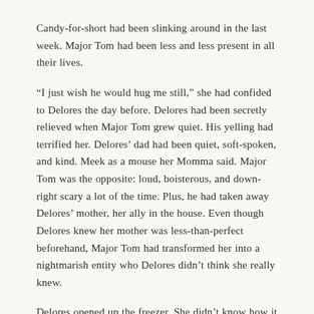Candy-for-short had been slinking around in the last week. Major Tom had been less and less present in all their lives.
“I just wish he would hug me still,” she had confided to Delores the day before. Delores had been secretly relieved when Major Tom grew quiet. His yelling had terrified her. Delores’ dad had been quiet, soft-spoken, and kind. Meek as a mouse her Momma said. Major Tom was the opposite: loud, boisterous, and down-right scary a lot of the time. Plus, he had taken away Delores’ mother, her ally in the house. Even though Delores knew her mother was less-than-perfect beforehand, Major Tom had transformed her into a nightmarish entity who Delores didn’t think she really knew.
Delores opened up the freezer. She didn’t know how it had gotten in there. She pulled it out and set it on the counter.